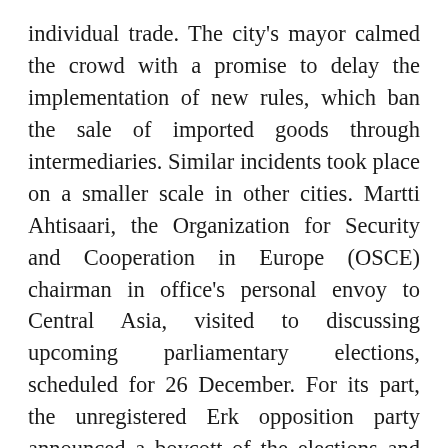individual trade. The city's mayor calmed the crowd with a promise to delay the implementation of new rules, which ban the sale of imported goods through intermediaries. Similar incidents took place on a smaller scale in other cities. Martti Ahtisaari, the Organization for Security and Cooperation in Europe (OSCE) chairman in office's personal envoy to Central Asia, visited to discussing upcoming parliamentary elections, scheduled for 26 December. For its part, the unregistered Erk opposition party announced a boycott of the elections and called on the international community to do the same. ADB President Tadao Chino visited to ink $164 million in new loan agreements. And the State Property Committee received $14.7 million when it sold off its 57 percent stake in Coca-Cola Bottlers Uzbekistan Ltd., a company that gained notoriety in the course of the brief marriage and protracted divorce of